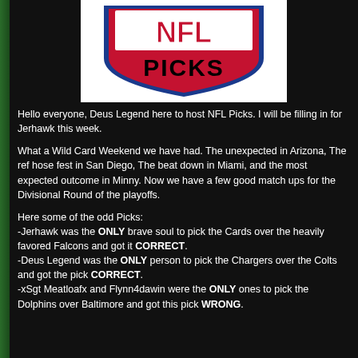[Figure (logo): NFL Picks logo — NFL shield with red NFL letters and black PICKS text below]
Hello everyone, Deus Legend here to host NFL Picks. I will be filling in for Jerhawk this week.
What a Wild Card Weekend we have had. The unexpected in Arizona, The ref hose fest in San Diego, The beat down in Miami, and the most expected outcome in Minny. Now we have a few good match ups for the Divisional Round of the playoffs.
Here some of the odd Picks:
-Jerhawk was the ONLY brave soul to pick the Cards over the heavily favored Falcons and got it CORRECT.
-Deus Legend was the ONLY person to pick the Chargers over the Colts and got the pick CORRECT.
-xSgt Meatloafx and Flynn4dawin were the ONLY ones to pick the Dolphins over Baltimore and got this pick WRONG.